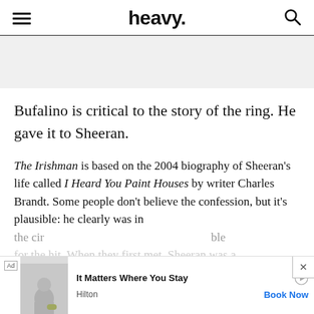heavy.
Bufalino is critical to the story of the ring. He gave it to Sheeran.
The Irishman is based on the 2004 biography of Sheeran’s life called I Heard You Paint Houses by writer Charles Brandt. Some people don’t believe the confession, but it’s plausible: he clearly was in the circle … ble for the hit. When they first met, Sheeran was a …
[Figure (screenshot): Advertisement banner: Hilton hotel ad reading 'It Matters Where You Stay' with Book Now CTA]